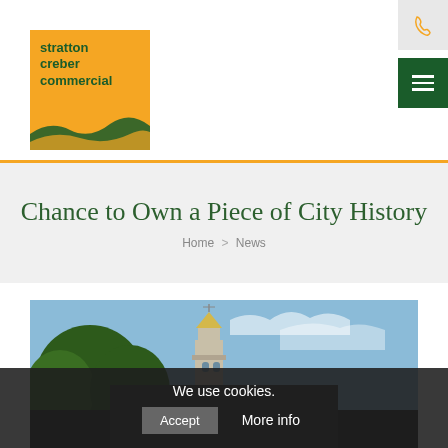[Figure (logo): Stratton Creber Commercial logo — orange square with green text and wave graphic]
[Figure (other): Phone icon button in light grey box, top right]
[Figure (other): Hamburger menu icon in dark green box, top right below phone]
Chance to Own a Piece of City History
Home > News
[Figure (photo): Photo of a historic building cupola/clock tower with trees against a blue sky]
We use cookies.
Accept   More info